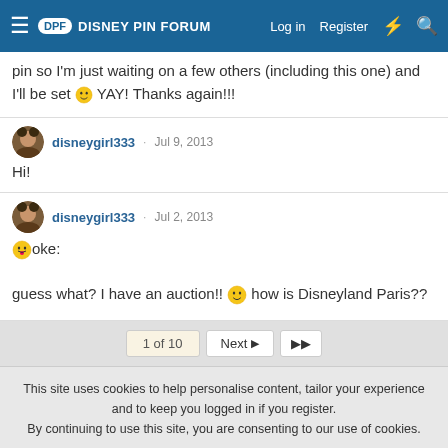Disney Pin Forum - Log in - Register
pin so I'm just waiting on a few others (including this one) and I'll be set 😀 YAY! Thanks again!!!
disneygirl333 · Jul 9, 2013
Hi!
disneygirl333 · Jul 2, 2013
😝oke:
guess what? I have an auction!! 😀 how is Disneyland Paris??
1 of 10  Next  ▶▶
This site uses cookies to help personalise content, tailor your experience and to keep you logged in if you register.
By continuing to use this site, you are consenting to our use of cookies.
✓ Accept   Learn more...